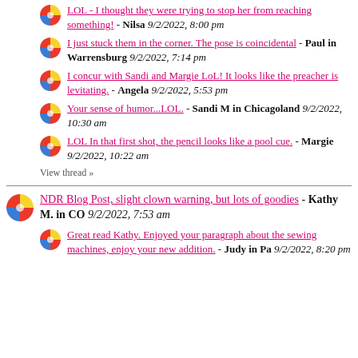LOL - I thought they were trying to stop her from reaching something! - Nilsa 9/2/2022, 8:00 pm
I just stuck them in the corner. The pose is coincidental - Paul in Warrensburg 9/2/2022, 7:14 pm
I concur with Sandi and Margie LoL! It looks like the preacher is levitating. - Angela 9/2/2022, 5:53 pm
Your sense of humor...LOL. - Sandi M in Chicagoland 9/2/2022, 10:30 am
LOL In that first shot, the pencil looks like a pool cue. - Margie 9/2/2022, 10:22 am
View thread »
NDR Blog Post, slight clown warning, but lots of goodies - Kathy M. in CO 9/2/2022, 7:53 am
Great read Kathy. Enjoyed your paragraph about the sewing machines, enjoy your new addition. - Judy in Pa 9/2/2022, 8:20 pm